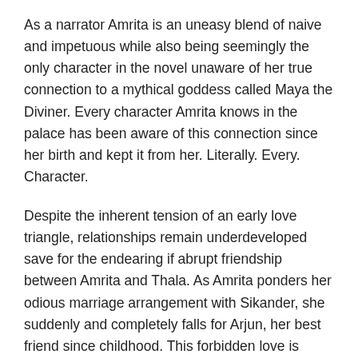As a narrator Amrita is an uneasy blend of naive and impetuous while also being seemingly the only character in the novel unaware of her true connection to a mythical goddess called Maya the Diviner. Every character Amrita knows in the palace has been aware of this connection since her birth and kept it from her. Literally. Every. Character.
Despite the inherent tension of an early love triangle, relationships remain underdeveloped save for the endearing if abrupt friendship between Amrita and Thala. As Amrita ponders her odious marriage arrangement with Sikander, she suddenly and completely falls for Arjun, her best friend since childhood. This forbidden love is dropped when Amrita is forced to leave Shalingar without him. A new love interest is introduced for a dramatic star-crossed love story that is largely toothless because the second love interest appears in about ten pages total of